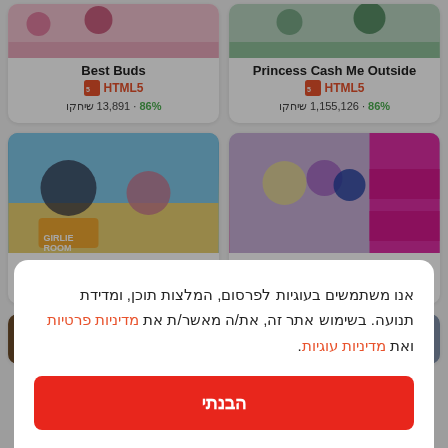[Figure (screenshot): Game card image for Best Buds - top left, pink background with game characters]
Best Buds
HTML5
86% · 13,891 שיחקו
[Figure (screenshot): Game card image for Princess Cash Me Outside - top right, green/teal background with game characters]
Princess Cash Me Outside
HTML5
86% · 1,155,126 שיחקו
[Figure (screenshot): Game card image for Emily's Diary: Beach date - beach scene with anime girls]
Emily's Diary: Beach date
HTML5
[Figure (screenshot): Game card image for Bonnie Spy Squad - city street scene with spy characters]
Bonnie Spy Squad
HTML5
אנו משתמשים בעוגיות לפרסום, המלצות תוכן, ומדידת תנועה. בשימוש אתר זה, את/ה מאשר/ת את מדיניות פרטיות ואת מדיניות עוגיות.
הבנתי